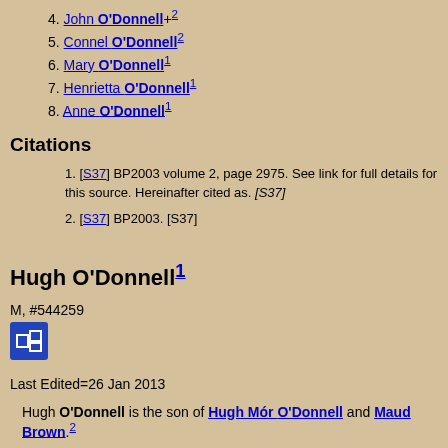4. John O'Donnell+2
5. Connel O'Donnell2
6. Mary O'Donnell1
7. Henrietta O'Donnell1
8. Anne O'Donnell1
Citations
[S37] BP2003 volume 2, page 2975. See link for full details for this source. Hereinafter cited as. [S37]
[S37] BP2003. [S37]
Hugh O'Donnell1
M, #544259
Last Edited=26 Jan 2013
Hugh O'Donnell is the son of Hugh Mór O'Donnell and Maud Brown.2